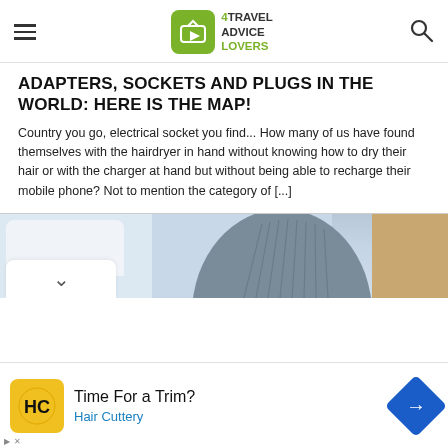4TRAVEL ADVICE LOVERS
ADAPTERS, SOCKETS AND PLUGS IN THE WORLD: HERE IS THE MAP!
Country you go, electrical socket you find... How many of us have found themselves with the hairdryer in hand without knowing how to dry their hair or with the charger at hand but without being able to recharge their mobile phone? Not to mention the category of [...]
[Figure (photo): Dome of a building with ribbed grey structure against a light sky and sandy stone wall on the right]
[Figure (infographic): Advertisement: Time For a Trim? Hair Cuttery — with HC logo in yellow circle and a blue diamond navigation arrow]